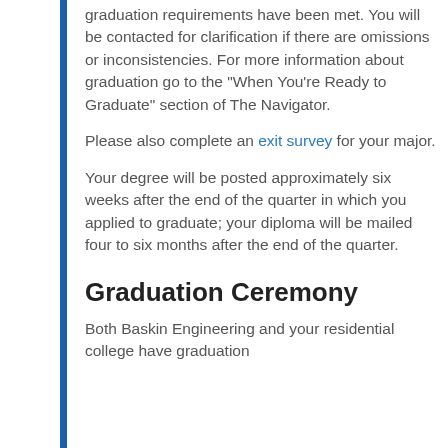graduation requirements have been met. You will be contacted for clarification if there are omissions or inconsistencies. For more information about graduation go to the "When You're Ready to Graduate" section of The Navigator.
Please also complete an exit survey for your major.
Your degree will be posted approximately six weeks after the end of the quarter in which you applied to graduate; your diploma will be mailed four to six months after the end of the quarter.
Graduation Ceremony
Both Baskin Engineering and your residential college have graduation